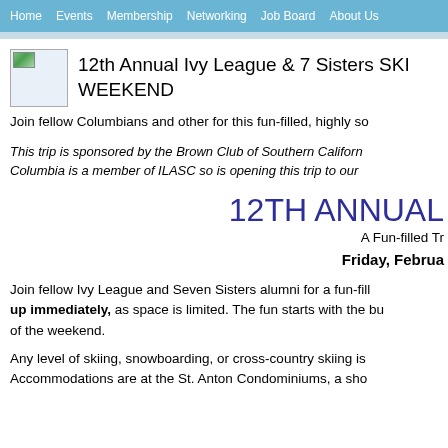Home  Events  Membership  Networking  Job Board  About Us
12th Annual Ivy League & 7 Sisters SKI WEEKEND
Join fellow Columbians and other for this fun-filled, highly so
This trip is sponsored by the Brown Club of Southern Californ... Columbia is a member of ILASC so is opening this trip to our
12TH ANNUAL
A Fun-filled Tr
Friday, Februa
Join fellow Ivy League and Seven Sisters alumni for a fun-fill... up immediately, as space is limited. The fun starts with the bu... of the weekend.
Any level of skiing, snowboarding, or cross-country skiing is ... Accommodations are at the St. Anton Condominiums, a sho